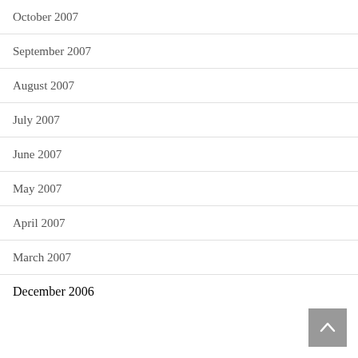October 2007
September 2007
August 2007
July 2007
June 2007
May 2007
April 2007
March 2007
December 2006